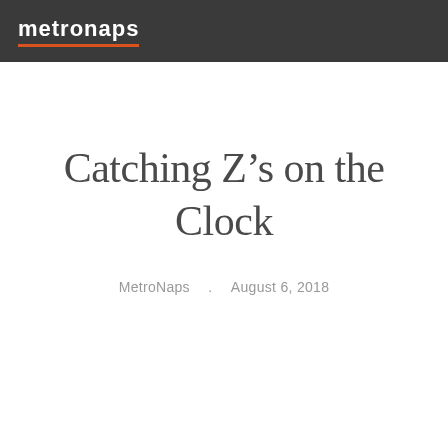metronaps
Catching Z’s on the Clock
MetroNaps  .  August 6, 2018